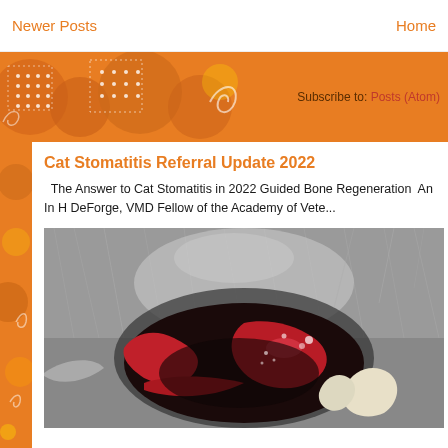Newer Posts | Home
[Figure (screenshot): Orange decorative banner with swirls and dotted square patterns on left, subscribe link on right]
Subscribe to: Posts (Atom)
Cat Stomatitis Referral Update 2022
The Answer to Cat Stomatitis in 2022 Guided Bone Regeneration  An In H DeForge, VMD Fellow of the Academy of Vete...
[Figure (photo): Close-up medical photo of a cat's open mouth showing inflamed red gum tissue, fur around mouth visible, clinical veterinary dental procedure context]